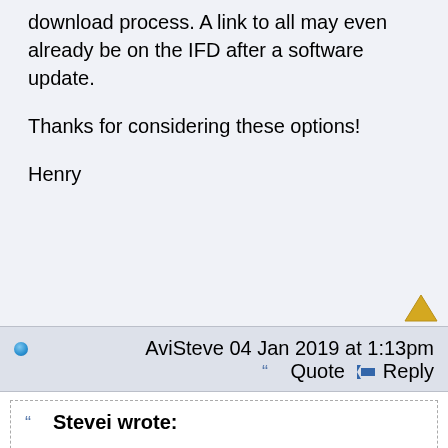download process. A link to all may even already be on the IFD after a software update.
Thanks for considering these options!
Henry
AviSteve 04 Jan 2019 at 1:13pm
Quote  Reply
Stevei wrote:
Mike,
In your next version spend a little time on